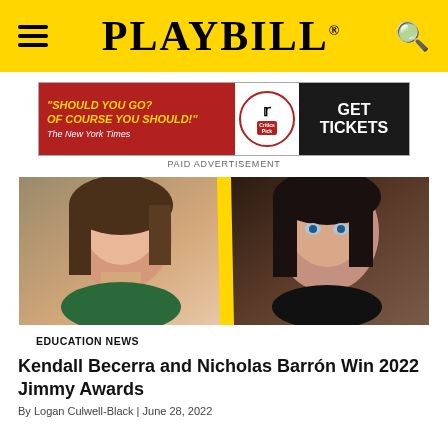PLAYBILL
[Figure (photo): Advertisement banner: 'Should you go? Of course you should!' - The New York Times, Critics Pick. GET TICKETS button. Red background with dark panel.]
PAID ADVERTISEMENT
[Figure (photo): Two headshots side by side separated by a yellow diagonal line: young woman with brown hair on the left, young man with dark hair and blue eyes on the right.]
EDUCATION NEWS
Kendall Becerra and Nicholas Barrón Win 2022 Jimmy Awards
By Logan Culwell-Block | June 28, 2022